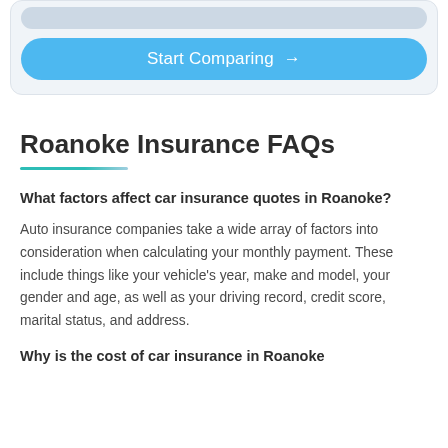[Figure (other): A card with a light blue 'Start Comparing' button with a right arrow, and a grey bar above it, all within a light grey rounded card container.]
Roanoke Insurance FAQs
What factors affect car insurance quotes in Roanoke?
Auto insurance companies take a wide array of factors into consideration when calculating your monthly payment. These include things like your vehicle's year, make and model, your gender and age, as well as your driving record, credit score, marital status, and address.
Why is the cost of car insurance in Roanoke